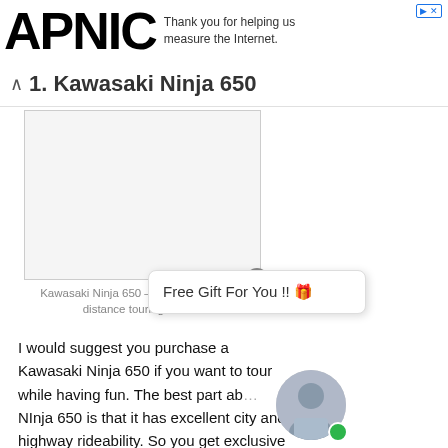APNIC — Thank you for helping us measure the Internet.
1. Kawasaki Ninja 650
[Figure (photo): Image of Kawasaki Ninja 650 motorcycle with caption: Kawasaki Ninja 650 – Best bike for long distance touring in India]
Kawasaki Ninja 650 – Best bike for long distance touring in India
Free Gift For You !! 🎁
I would suggest you purchase a Kawasaki Ninja 650 if you want to tour while having fun. The best part about Ninja 650 is that it has excellent city and highway rideability. So you get exclusive use of your money.